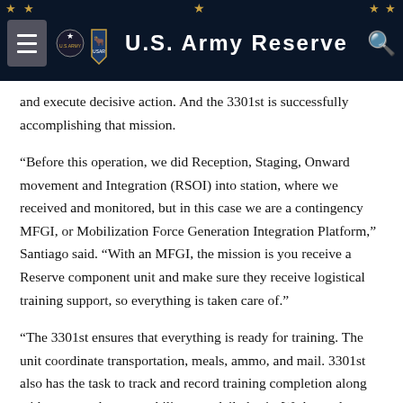U.S. Army Reserve
and execute decisive action. And the 3301st is successfully accomplishing that mission.
“Before this operation, we did Reception, Staging, Onward movement and Integration (RSOI) into station, where we received and monitored, but in this case we are a contingency MFGI, or Mobilization Force Generation Integration Platform,” Santiago said. “With an MFGI, the mission is you receive a Reserve component unit and make sure they receive logistical training support, so everything is taken care of.”
“The 3301st ensures that everything is ready for training. The unit coordinate transportation, meals, ammo, and mail. 3301st also has the task to track and record training completion along with personnel accountability on a daily basis. We have also been supporting in other ways by providing personnel to run the ranges and serve as role players for the mobilizing unit’s training events.,”